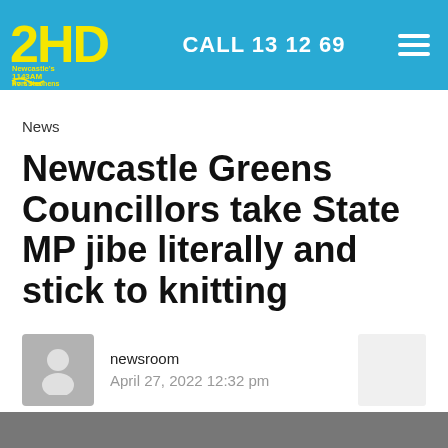2HD Newcastle's 1143AM Port Stephens 97.5 FM | CALL 13 12 69
News
Newcastle Greens Councillors take State MP jibe literally and stick to knitting
newsroom
April 27, 2022 12:32 pm